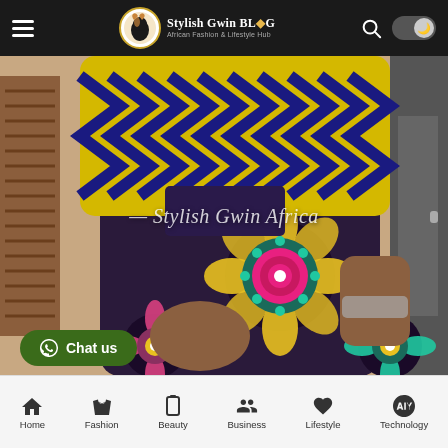Stylish Gwin BLOG - African Fashion & Lifestyle Hub
[Figure (photo): A person wearing colorful African Ankara print outfit - yellow geometric patterned top with dark floral/mandala print skirt. Large decorative flowers in purple, pink, yellow, teal on dark background. Watermark text 'Stylish Gwin Africa' overlaid on image.]
Stylish Gwin Africa
Chat us
Home | Fashion | Beauty | Business | Lifestyle | Technology